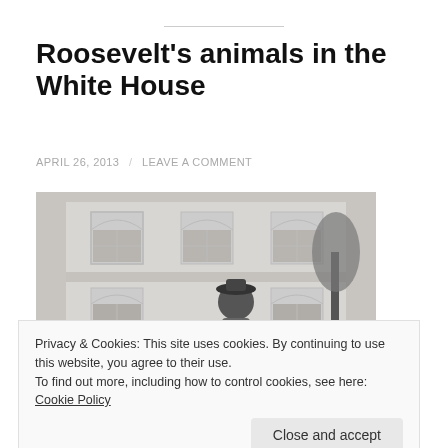Roosevelt’s animals in the White House
APRIL 26, 2013 / LEAVE A COMMENT
[Figure (photo): Black and white historical photograph of a boy wearing a hat outdoors in front of a white building (White House), with a pony or horse visible in the foreground.]
Privacy & Cookies: This site uses cookies. By continuing to use this website, you agree to their use.
To find out more, including how to control cookies, see here: Cookie Policy
Close and accept